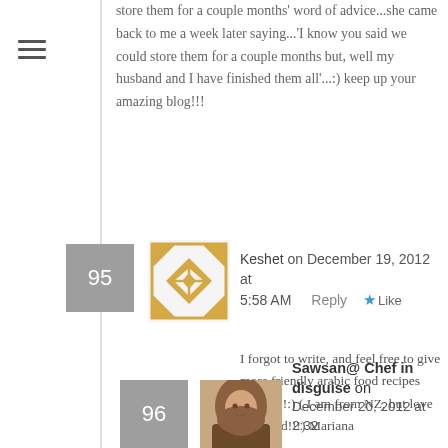store them for a couple months' word of advice...she came back to me a week later saying...'I know you said we could store them for a couple months but, well my husband and I have finished them all'...:) keep up your amazing blog!!!
95
[Figure (illustration): Decorative geometric avatar for user Keshet — gold/yellow diamond pattern on white square background]
Keshet on December 19, 2012 at 5:58 AM   Reply  ★ Like
I forgot to write, and feel free to give more friendly arabic food recipes please!!!:) ( I am from NZ, but love this food!!!) Mariana
96
[Figure (photo): Photo of a woman wearing a hijab — Sawsan, Chef in disguise]
Sawsan@ Chef in disguise on December 20, 2012 at 2:32